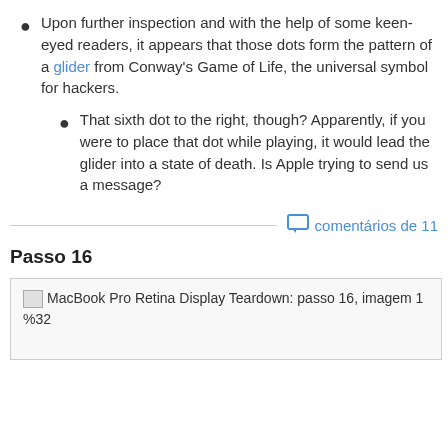Upon further inspection and with the help of some keen-eyed readers, it appears that those dots form the pattern of a glider from Conway's Game of Life, the universal symbol for hackers.
That sixth dot to the right, though? Apparently, if you were to place that dot while playing, it would lead the glider into a state of death. Is Apple trying to send us a message?
comentários de 11
Passo 16
[Figure (photo): MacBook Pro Retina Display Teardown: passo 16, imagem 1 %32 — broken image placeholder]